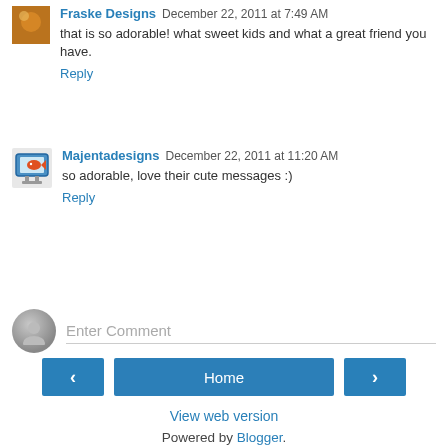Fraske Designs December 22, 2011 at 7:49 AM
that is so adorable! what sweet kids and what a great friend you have.
Reply
Majentadesigns December 22, 2011 at 11:20 AM
so adorable, love their cute messages :)
Reply
Enter Comment
Home
View web version
Powered by Blogger.